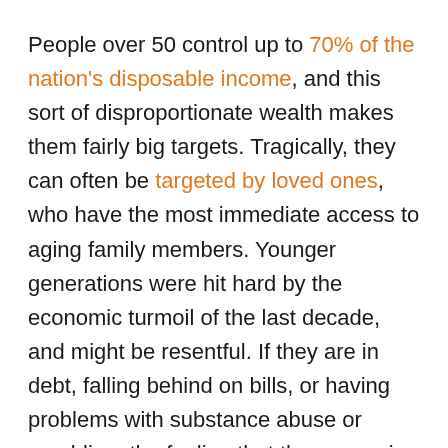People over 50 control up to 70% of the nation's disposable income, and this sort of disproportionate wealth makes them fairly big targets. Tragically, they can often be targeted by loved ones, who have the most immediate access to aging family members. Younger generations were hit hard by the economic turmoil of the last decade, and might be resentful. If they are in debt, falling behind on bills, or having problems with substance abuse or gambling, the feeling that the money is rightfully theirs can be a powerful one. This doesn't even have to start maliciously: after all, it's basically their inheritance, right? One check won't hurt, and I see mom nearly every day, at least